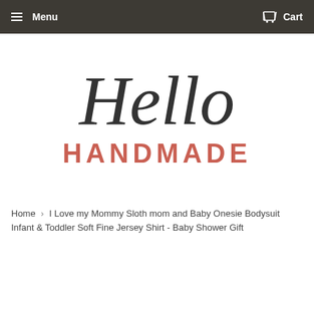Menu  Cart
[Figure (logo): Hello Handmade logo: 'Hello' in dark cursive script above 'HANDMADE' in bold reddish-salmon uppercase letters]
Home › I Love my Mommy Sloth mom and Baby Onesie Bodysuit Infant & Toddler Soft Fine Jersey Shirt - Baby Shower Gift